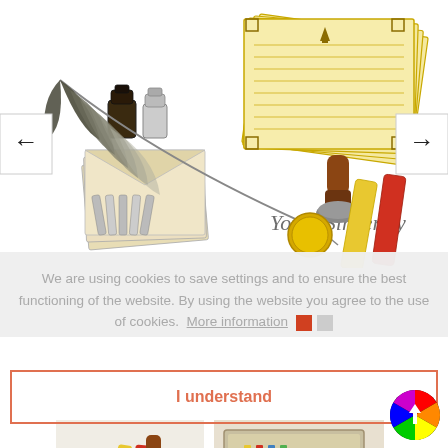[Figure (photo): Product photo of a calligraphy/letter writing set including feather quill pen, ink bottles, nib tips, decorative envelopes, lined writing paper with gold border, wax seal stamp with wooden handle, yellow and red sealing wax sticks, and a gold wax seal coin. Navigation arrows on left and right sides.]
We are using cookies to save settings and to ensure the best functioning of the website. By using the website you agree to the use of cookies. More information
I understand
[Figure (photo): Thumbnail of a calligraphy/wax seal writing set with tools]
[Figure (photo): Thumbnail of a calligraphy set in a box/case with colored pencils and accessories]
[Figure (other): Color wheel icon with upward arrow, used as a scroll-to-top or color picker button]